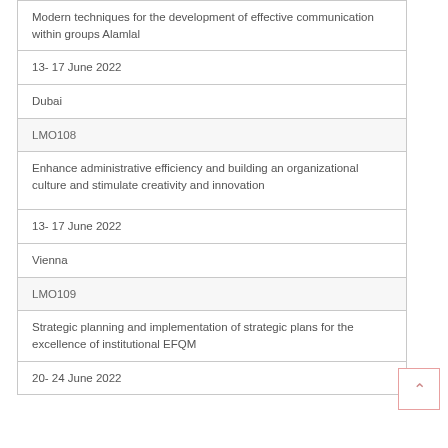Modern techniques for the development of effective communication within groups Alamlal
13- 17 June 2022
Dubai
LMO108
Enhance administrative efficiency and building an organizational culture and stimulate creativity and innovation
13- 17 June 2022
Vienna
LMO109
Strategic planning and implementation of strategic plans for the excellence of institutional EFQM
20- 24 June 2022